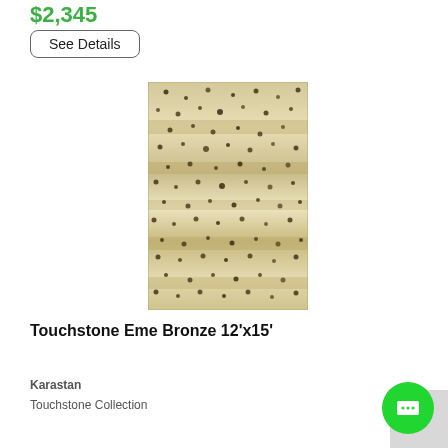$2,345
See Details
[Figure (photo): Touchstone Eme Bronze 12'x15' rug - beige/cream shaggy rug with scattered dark bronze/black dot pattern and wave-like texture bands]
Touchstone Eme Bronze 12'x15'
Karastan
Touchstone Collection